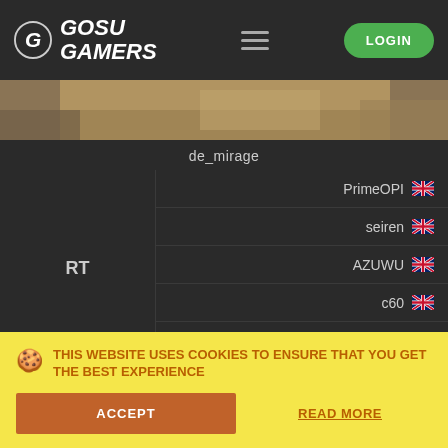GOSU GAMERS — LOGIN
[Figure (screenshot): de_mirage map preview image]
de_mirage
| Team | Players |
| --- | --- |
| RT | PrimeOPI 🇬🇧 |
|  | seiren 🇬🇧 |
|  | AZUWU 🇬🇧 |
|  | c60 🇬🇧 |
|  | EjR 🇮🇪 |
* Player is a stand-in
THIS WEBSITE USES COOKIES TO ENSURE THAT YOU GET THE BEST EXPERIENCE
ACCEPT
READ MORE